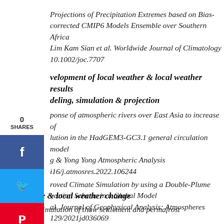Projections of Precipitation Extremes based on Bias-corrected CMIP6 Models Ensemble over Southern Africa Lim Kam Sian et al. Worldwide Journal of Climatology 10.1002/joc.7707
velopment of local weather & local weather results deling, simulation & projection
ponse of atmospheric rivers over East Asia to increase of lution in the HadGEM3-GC3.1 general circulation model g & Yong Yong Atmospheric Analysis i16/j.atmosres.2022.106244
roved Climate Simulation by using a Double-Plume vection Scheme in a Global Model al. Journal of Geophysical Analysis: Atmospheres 129/2021jd036069
Cryosphere & local weather change
Numerical simulation of thaw settlement and permafrost